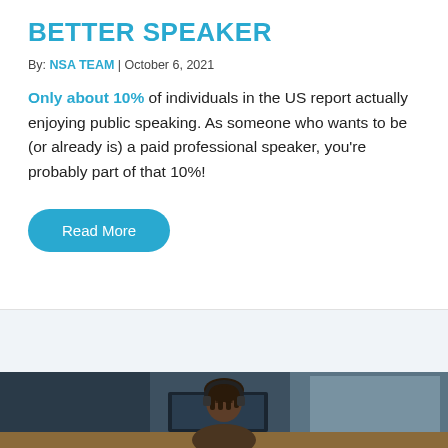BETTER SPEAKER
By: NSA TEAM | October 6, 2021
Only about 10% of individuals in the US report actually enjoying public speaking. As someone who wants to be (or already is) a paid professional speaker, you're probably part of that 10%!
Read More
[Figure (photo): Photo of a person wearing headphones seated at a desk, viewed from above/side, with a monitor visible. Background shows dark walls and a window with light.]